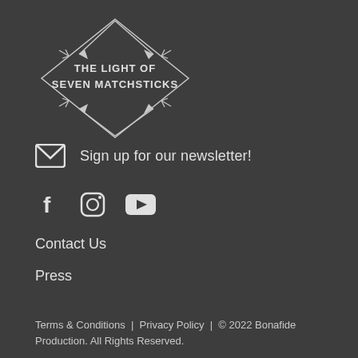[Figure (logo): Diamond/rhombus shape with arrows on each side and text inside reading THE LIGHT OF SEVEN MATCHSTICKS]
Sign up for our newsletter!
[Figure (infographic): Social media icons: Facebook, Instagram, YouTube]
Contact Us
Press
Terms & Conditions  |  Privacy Policy  |  © 2022 Bonafide Production. All Rights Reserved.